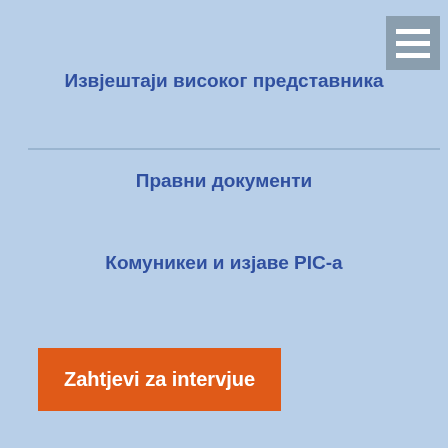Извјештаји високог представника
Правни документи
Комуникеи и изјаве PIC-а
Zahtjevi za intervjue
Дејтонски мировни споразум
Устав БиХ
Закони Босне и Херцеговине
Резолуције Савјета безбједности